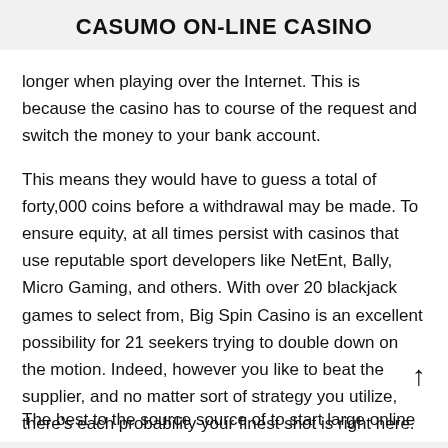CASUMO ON-LINE CASINO
longer when playing over the Internet. This is because the casino has to course of the request and switch the money to your bank account.
This means they would have to guess a total of forty,000 coins before a withdrawal may be made. To ensure equity, at all times persist with casinos that use reputable sport developers like NetEnt, Bally, Micro Gaming, and others. With over 20 blackjack games to select from, Big Spin Casino is an excellent possibility for 21 seekers trying to double down on the motion. Indeed, however you like to beat the supplier, and no matter sort of strategy you utilize, there's each probability your finest shot is right here.
The best to the source source of to start large online casino in